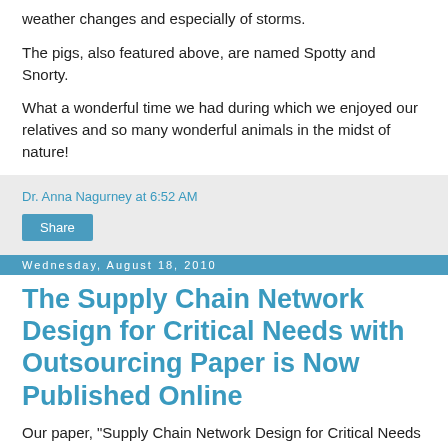weather changes and especially of storms.
The pigs, also featured above, are named Spotty and Snorty.
What a wonderful time we had during which we enjoyed our relatives and so many wonderful animals in the midst of nature!
Dr. Anna Nagurney at 6:52 AM
Share
Wednesday, August 18, 2010
The Supply Chain Network Design for Critical Needs with Outsourcing Paper is Now Published Online
Our paper, "Supply Chain Network Design for Critical Needs with Outsourcing," has now been made available online by the publisher, John Wiley & Sons, in the journal Papers in